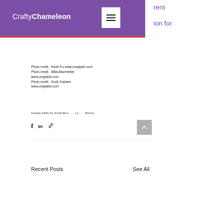CraftyChameleon
Photo credit - Kevin Ku www.unsplash.com
Photo credit - Mika-Baumeiste www.unsplash.com
Photo credit - Scott Graham www.unsplash.com
Design Skills for Small Bus... · Lo... · Brand...
Recent Posts
See All